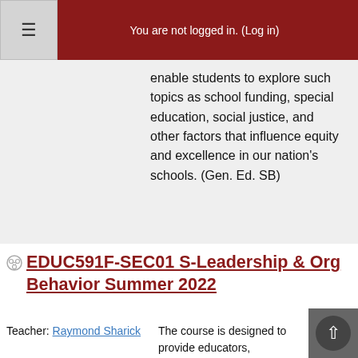≡  You are not logged in. (Log in)
enable students to explore such topics as school funding, special education, social justice, and other factors that influence equity and excellence in our nation's schools. (Gen. Ed. SB)
EDUC591F-SEC01 S-Leadership & Org Behavior Summer 2022
Teacher: Raymond Sharick
The course is designed to provide educators, counselors, and mental health professionals with an overview of the important elements of leadership and of organizational behavior.